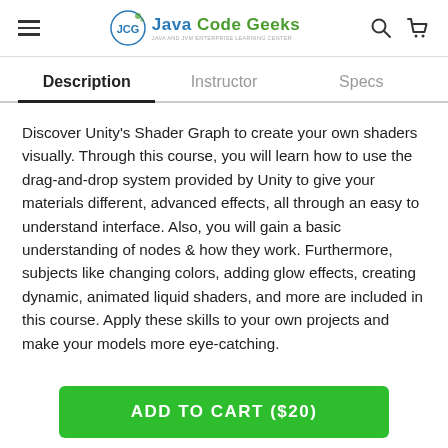Java Code Geeks
Description | Instructor | Specs
Discover Unity's Shader Graph to create your own shaders visually. Through this course, you will learn how to use the drag-and-drop system provided by Unity to give your materials different, advanced effects, all through an easy to understand interface. Also, you will gain a basic understanding of nodes & how they work. Furthermore, subjects like changing colors, adding glow effects, creating dynamic, animated liquid shaders, and more are included in this course. Apply these skills to your own projects and make your models more eye-catching.
ADD TO CART ($20)